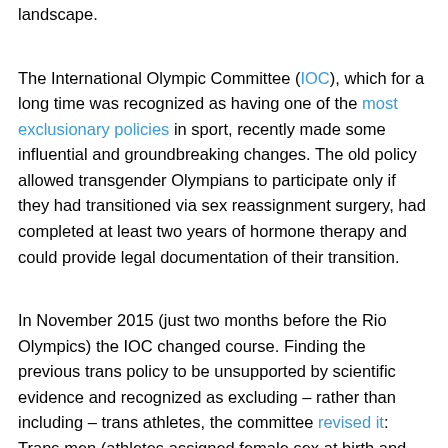landscape.
The International Olympic Committee (IOC), which for a long time was recognized as having one of the most exclusionary policies in sport, recently made some influential and groundbreaking changes. The old policy allowed transgender Olympians to participate only if they had transitioned via sex reassignment surgery, had completed at least two years of hormone therapy and could provide legal documentation of their transition.
In November 2015 (just two months before the Rio Olympics) the IOC changed course. Finding the previous trans policy to be unsupported by scientific evidence and recognized as excluding – rather than including – trans athletes, the committee revised it: Trans men (athletes assigned female sex at birth and who identify as a man) can compete without restriction. Trans women (athletes assigned male sex at birth